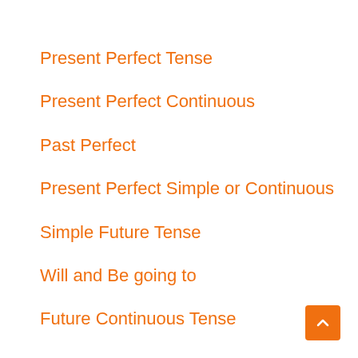Present Perfect Tense
Present Perfect Continuous
Past Perfect
Present Perfect Simple or Continuous
Simple Future Tense
Will and Be going to
Future Continuous Tense